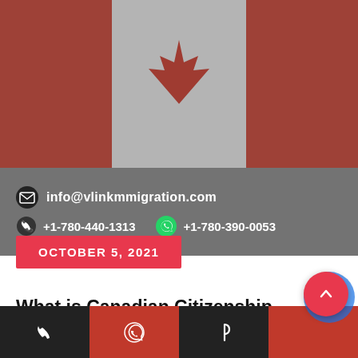[Figure (photo): Canadian flag banner image — red and white maple leaf flag, texture/grainy appearance]
info@vlinkmmigration.com
+1-780-440-1313   +1-780-390-0053
OCTOBER 5, 2021
What is Canadian Citizenship Application Process?
By vlinkimmigration
Immigration Visa